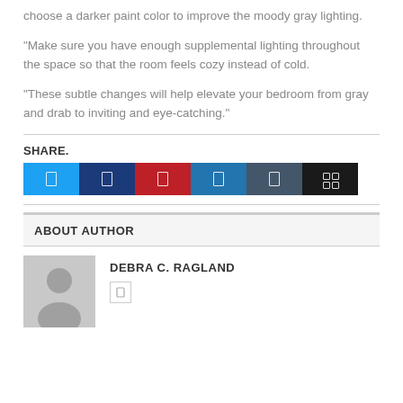choose a darker paint color to improve the moody gray lighting.
“Make sure you have enough supplemental lighting throughout the space so that the room feels cozy instead of cold.
“These subtle changes will help elevate your bedroom from gray and drab to inviting and eye-catching.”
SHARE.
[Figure (other): Social media share buttons: Twitter (blue), Facebook (dark blue), Pinterest (red), LinkedIn (medium blue), Tumblr (dark slate), Share (black)]
ABOUT AUTHOR
DEBRA C. RAGLAND
[Figure (photo): Gray placeholder avatar silhouette image for author Debra C. Ragland]